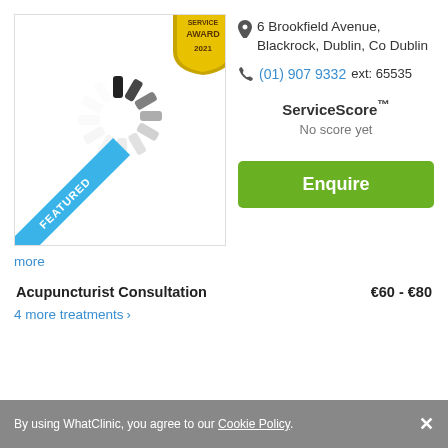[Figure (illustration): Loading spinner image with dashes arranged in a circle, with a blue 'FEATURED' diagonal ribbon in the bottom-left corner and a gold 'SERVICE AWARD 2021' badge in the top-right corner]
6 Brookfield Avenue, Blackrock, Dublin, Co Dublin
(01) 907 9332 ext: 65535
ServiceScore™
No score yet
Enquire
more
Acupuncturist Consultation
€60 - €80
4 more treatments ›
By using WhatClinic, you agree to our Cookie Policy.  ×